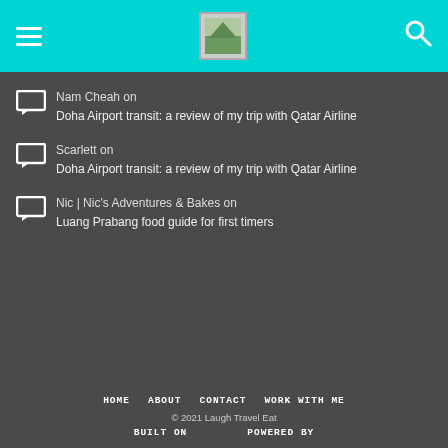Navigation header with hamburger menu, logo, and search icon
Nam Cheah on Doha Airport transit: a review of my trip with Qatar Airline
Scarlett on Doha Airport transit: a review of my trip with Qatar Airline
Nic | Nic's Adventures & Bakes on Luang Prabang food guide for first timers
HOME  ABOUT  CONTACT  WORK WITH ME
© 2021 Laugh Travel Eat
BUILT ON  POWERED BY